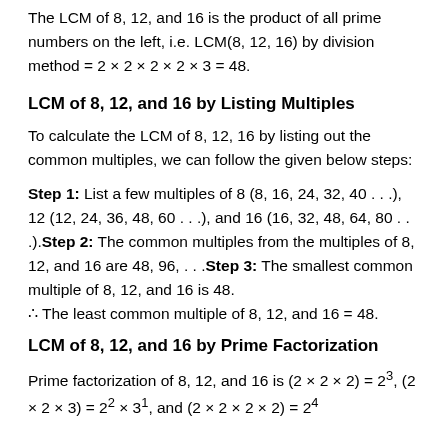The LCM of 8, 12, and 16 is the product of all prime numbers on the left, i.e. LCM(8, 12, 16) by division method = 2 × 2 × 2 × 2 × 3 = 48.
LCM of 8, 12, and 16 by Listing Multiples
To calculate the LCM of 8, 12, 16 by listing out the common multiples, we can follow the given below steps:
Step 1: List a few multiples of 8 (8, 16, 24, 32, 40 . . .), 12 (12, 24, 36, 48, 60 . . .), and 16 (16, 32, 48, 64, 80 . . .).Step 2: The common multiples from the multiples of 8, 12, and 16 are 48, 96, . . .Step 3: The smallest common multiple of 8, 12, and 16 is 48.
∴ The least common multiple of 8, 12, and 16 = 48.
LCM of 8, 12, and 16 by Prime Factorization
Prime factorization of 8, 12, and 16 is (2 × 2 × 2) = 23, (2 × 2 × 3) = 22 × 31, and (2 × 2 × 2 × 2) = 24